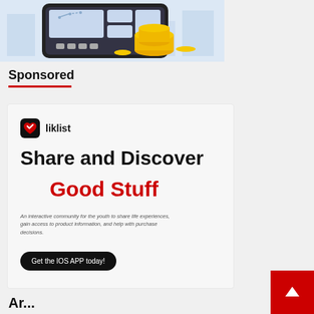[Figure (illustration): Illustration of a mobile device/tablet showing a finance app interface with gold coins stacked nearby, on a light blue background]
Sponsored
[Figure (infographic): Liklist advertisement card. Logo: shield icon with heart/checkmark. Headline: 'Share and Discover Good Stuff'. Body: 'An interactive community for the youth to share life experiences, gain access to product information, and help with purchase decisions.' CTA button: 'Get the IOS APP today!']